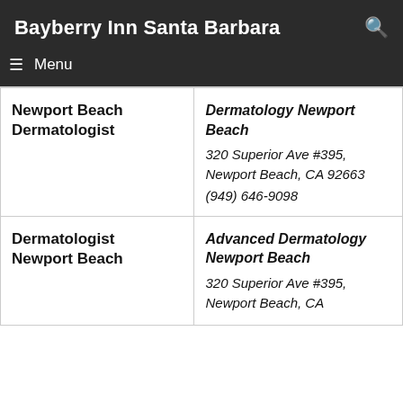Bayberry Inn Santa Barbara
|  |  |
| --- | --- |
| Newport Beach Dermatologist | Dermatology Newport Beach
320 Superior Ave #395, Newport Beach, CA 92663
(949) 646-9098 |
| Dermatologist Newport Beach | Advanced Dermatology Newport Beach
320 Superior Ave #395, Newport Beach, CA |